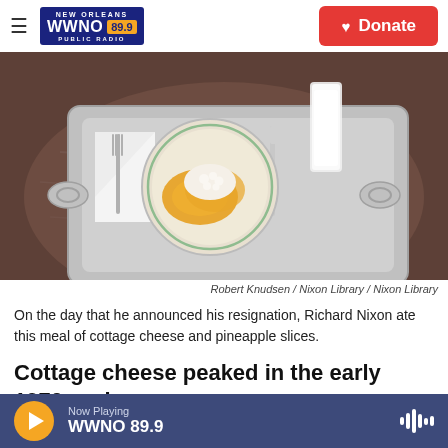NEW ORLEANS WWNO 89.9 PUBLIC RADIO | Donate
[Figure (photo): A silver serving tray on a wooden table with a plate containing cottage cheese and pineapple slices, a glass of milk, a fork, knife, and folded napkin.]
Robert Knudsen / Nixon Library / Nixon Library
On the day that he announced his resignation, Richard Nixon ate this meal of cottage cheese and pineapple slices.
Cottage cheese peaked in the early 1970s, when
Now Playing WWNO 89.9